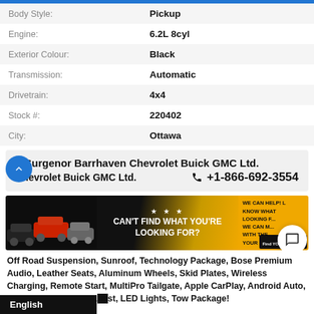| Field | Value |
| --- | --- |
| Body Style: | Pickup |
| Engine: | 6.2L 8cyl |
| Exterior Colour: | Black |
| Transmission: | Automatic |
| Drivetrain: | 4x4 |
| Stock #: | 220402 |
| City: | Ottawa |
Surgenor Barrhaven Chevrolet Buick GMC Ltd.   +1-866-692-3554
[Figure (infographic): Promotional banner with car images on left, 'CAN'T FIND WHAT YOU'RE LOOKING FOR?' text in center, gold background on right with 'WE CAN HELP!' text. Chat bubble icon overlay on right side.]
Off Road Suspension, Sunroof, Technology Package, Bose Premium Audio, Leather Seats, Aluminum Wheels, Skid Plates, Wireless Charging, Remote Start, MultiPro Tailgate, Apple CarPlay, Android Auto, Spray-on Bedliner, La... st, LED Lights, Tow Package!